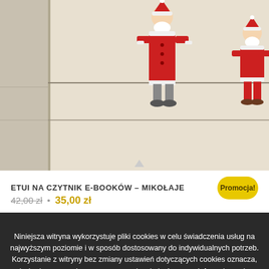[Figure (photo): Product photo showing two cartoon Mikołaj (Santa Claus) figures in red coats on a fabric e-reader case, with a white e-reader device visible on the right side, placed on a light wooden surface.]
ETUI NA CZYTNIK E-BOOKÓW – MIKOŁAJE
42,00 zł • 35,00 zł
Promocja!
Niniejsza witryna wykorzystuje pliki cookies w celu świadczenia usług na najwyższym poziomie i w sposób dostosowany do indywidualnych potrzeb. Korzystanie z witryny bez zmiany ustawień dotyczących cookies oznacza, że będą one zamieszczane w urządzeniu końcowym. Informujemy, że masz możliwość samodzielnej zmiany ustawień dotyczących Cookies w swojej przeglądarce. Jeśli nie akceptujesz naszej Polityki Cookies opuść tę stronę internetową.
OK
Dowiedz się więcej